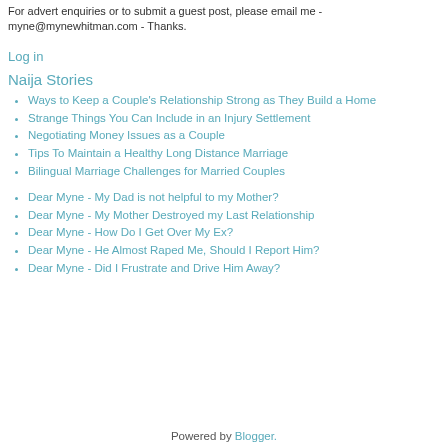For advert enquiries or to submit a guest post, please email me - myne@mynewhitman.com - Thanks.
Log in
Naija Stories
Ways to Keep a Couple's Relationship Strong as They Build a Home
Strange Things You Can Include in an Injury Settlement
Negotiating Money Issues as a Couple
Tips To Maintain a Healthy Long Distance Marriage
Bilingual Marriage Challenges for Married Couples
Dear Myne - My Dad is not helpful to my Mother?
Dear Myne - My Mother Destroyed my Last Relationship
Dear Myne - How Do I Get Over My Ex?
Dear Myne - He Almost Raped Me, Should I Report Him?
Dear Myne - Did I Frustrate and Drive Him Away?
Powered by Blogger.